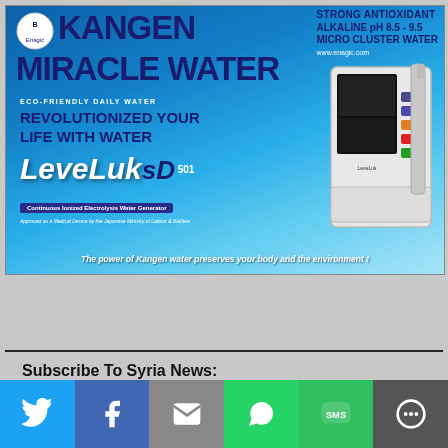[Figure (illustration): Kangen Miracle Water advertisement banner by Enagic featuring LeveLuk SD501 water ionizer device. Blue water background with text: STRONG ANTIOXIDANT ALKALINE pH 8.5-9.5 MICRO CLUSTER WATER, KANGEN MIRACLE WATER, ECO-FRIENDLY DAILY WATER, REVOLUTIONIZED YOUR LIFE WITH WATER, LeveLuk SD501, Continuous Ionized Electrolysis Water Generator, Approved as a Medical Device by the Japanese Ministry of Labour & Welfare, The power of Kangen water preserves your body and the environment!]
Subscribe To Syria News:
Most important news in your mailbox: